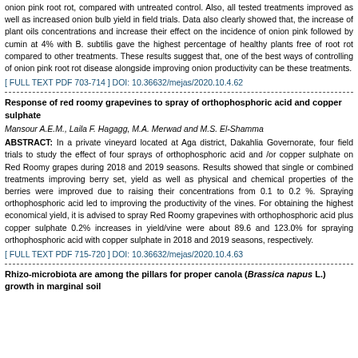onion pink root rot, compared with untreated control. Also, all tested treatments improved as well as increased onion bulb yield in field trials. Data also clearly showed that, the increase of plant oils concentrations and increase their effect on the incidence of onion pink followed by cumin at 4% with B. subtilis gave the highest percentage of healthy plants free of root rot compared to other treatments. These results suggest that, one of the best ways of controlling of onion pink root rot disease alongside improving onion productivity can be these treatments.
[ FULL TEXT PDF 703-714 ] DOI: 10.36632/mejas/2020.10.4.62
Response of red roomy grapevines to spray of orthophosphoric acid and copper sulphate
Mansour A.E.M., Laila F. Hagagg, M.A. Merwad and M.S. El-Shamma
ABSTRACT: In a private vineyard located at Aga district, Dakahlia Governorate, four field trials to study the effect of four sprays of orthophosphoric acid and /or copper sulphate on Red Roomy grapes during 2018 and 2019 seasons. Results showed that single or combined treatments improving berry set, yield as well as physical and chemical properties of the berries were improved due to raising their concentrations from 0.1 to 0.2 %. Spraying orthophosphoric acid led to improving the productivity of the vines. For obtaining the highest economical yield, it is advised to spray Red Roomy grapevines with orthophosphoric acid plus copper sulphate 0.2% increases in yield/vine were about 89.6 and 123.0% for spraying orthophosphoric acid with copper sulphate in 2018 and 2019 seasons, respectively.
[ FULL TEXT PDF 715-720 ] DOI: 10.36632/mejas/2020.10.4.63
Rhizo-microbiota are among the pillars for proper canola (Brassica napus L.) growth in marginal soil